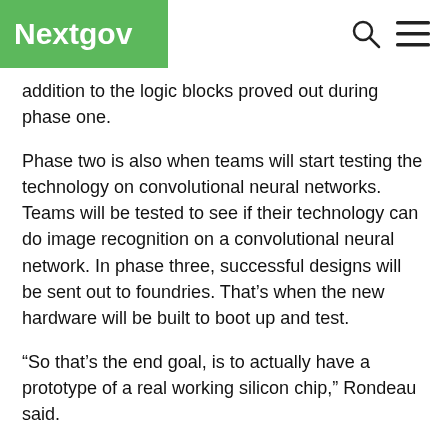Nextgov
addition to the logic blocks proved out during phase one.
Phase two is also when teams will start testing the technology on convolutional neural networks. Teams will be tested to see if their technology can do image recognition on a convolutional neural network. In phase three, successful designs will be sent out to foundries. That's when the new hardware will be built to boot up and test.
“So that’s the end goal, is to actually have a prototype of a real working silicon chip,” Rondeau said.
The technology still has a long way to go even if the DPRIVE program proves a success, but examples of applications abound. One military example is a call for fires: Once a target for a weapon is identified, a spotter or sensor in the field has to call it back to the command, who then authorizes a call for the